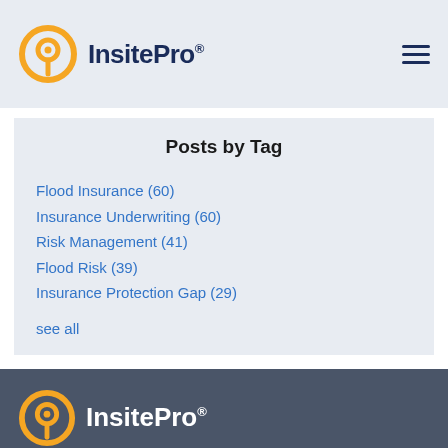InsitePro®
Posts by Tag
Flood Insurance (60)
Insurance Underwriting (60)
Risk Management (41)
Flood Risk (39)
Insurance Protection Gap (29)
see all
InsitePro®